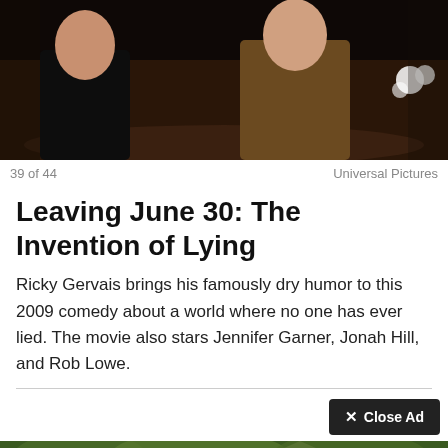[Figure (photo): Movie still showing people seated at a table, dimly lit indoor scene]
39 of 44	Universal Pictures
Leaving June 30: The Invention of Lying
Ricky Gervais brings his famously dry humor to this 2009 comedy about a world where no one has ever lied. The movie also stars Jennifer Garner, Jonah Hill, and Rob Lowe.
[Figure (photo): Movie still showing outdoor scene with people in a green natural setting]